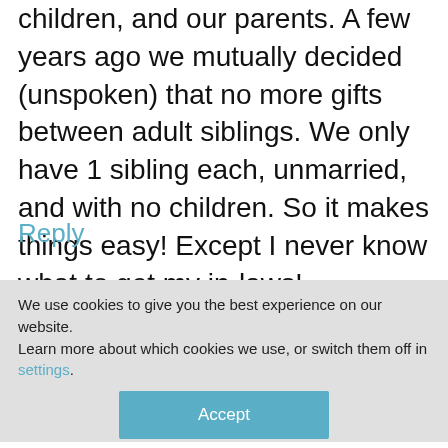children, and our parents. A few years ago we mutually decided (unspoken) that no more gifts between adult siblings. We only have 1 sibling each, unmarried, and with no children. So it makes things easy! Except I never know what to get my in-laws!
Reply
We use cookies to give you the best experience on our website.
Learn more about which cookies we use, or switch them off in settings.
Accept
kids) so we still all exchange gifts.